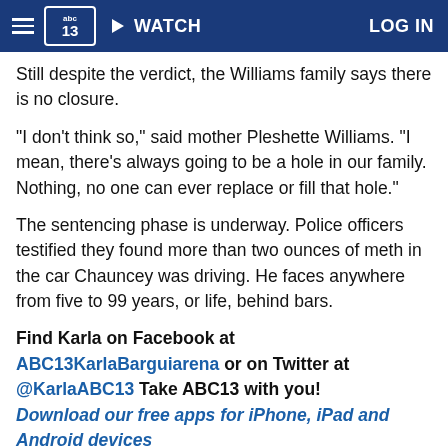abc13 WATCH LOG IN
Still despite the verdict, the Williams family says there is no closure.
"I don't think so," said mother Pleshette Williams. "I mean, there's always going to be a hole in our family. Nothing, no one can ever replace or fill that hole."
The sentencing phase is underway. Police officers testified they found more than two ounces of meth in the car Chauncey was driving. He faces anywhere from five to 99 years, or life, behind bars.
Find Karla on Facebook at ABC13KarlaBarguiarena or on Twitter at @KarlaABC13 Take ABC13 with you! Download our free apps for iPhone, iPad and Android devices